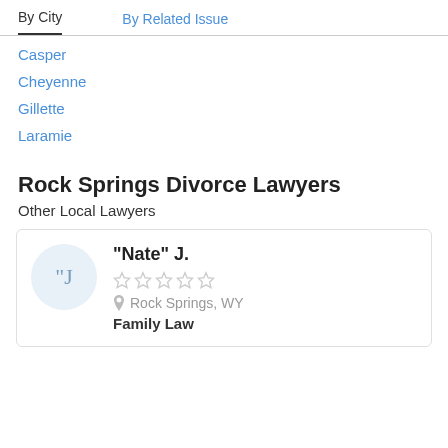By City | By Related Issue
Casper
Cheyenne
Gillette
Laramie
Rock Springs Divorce Lawyers
Other Local Lawyers
"Nate" J.
Rock Springs, WY
Family Law